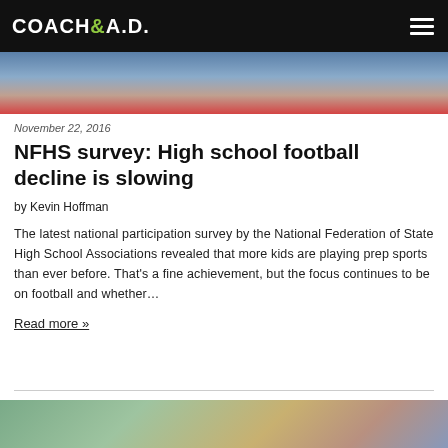COACH & A.D.
[Figure (photo): Top banner photo showing athletes in red and blue uniforms]
November 22, 2016
NFHS survey: High school football decline is slowing
by Kevin Hoffman
The latest national participation survey by the National Federation of State High School Associations revealed that more kids are playing prep sports than ever before. That’s a fine achievement, but the focus continues to be on football and whether…
Read more »
[Figure (photo): Bottom photo showing young male athletes outdoors near a brick building]